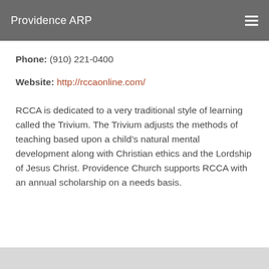Providence ARP
Phone: (910) 221-0400
Website: http://rccaonline.com/
RCCA is dedicated to a very traditional style of learning called the Trivium. The Trivium adjusts the methods of teaching based upon a child’s natural mental development along with Christian ethics and the Lordship of Jesus Christ. Providence Church supports RCCA with an annual scholarship on a needs basis.